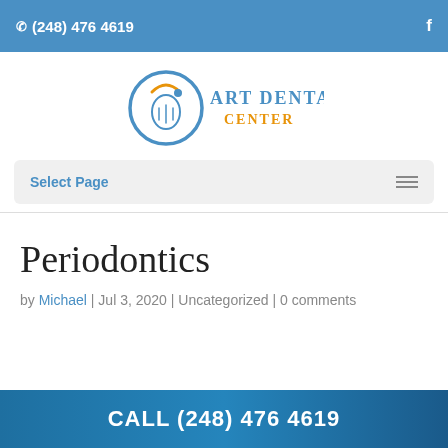(248) 476 4619  f
[Figure (logo): Art Dental Center logo with a circular blue tooth/smile icon and text 'Art Dental Center' in blue and orange]
Select Page
Periodontics
by Michael | Jul 3, 2020 | Uncategorized | 0 comments
CALL (248) 476 4619